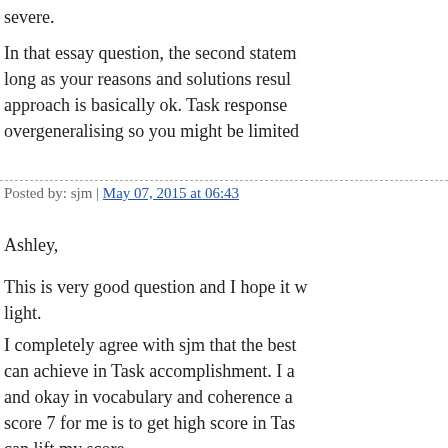severe.
In that essay question, the second statement... long as your reasons and solutions result... approach is basically ok. Task response... overgeneralising so you might be limited...
Posted by: sjm | May 07, 2015 at 06:43
Ashley,
This is very good question and I hope it w... light.
I completely agree with sjm that the best... can achieve in Task accomplishment. I a... and okay in vocabulary and coherence a... score 7 for me is to get high score in Tas... can lift my score.
Do follow the note of Simon about how to... mentioned steps to follow.
One of them is to spend time in understa... the question while you finish your paragr...